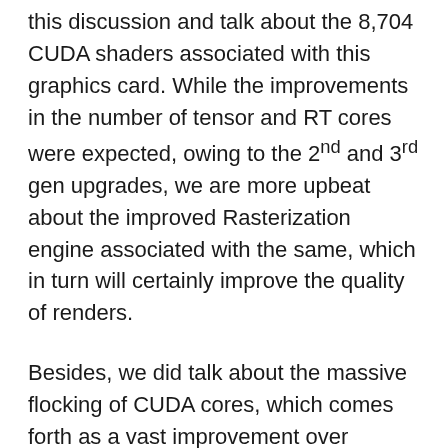this discussion and talk about the 8,704 CUDA shaders associated with this graphics card. While the improvements in the number of tensor and RT cores were expected, owing to the 2nd and 3rd gen upgrades, we are more upbeat about the improved Rasterization engine associated with the same, which in turn will certainly improve the quality of renders.
Besides, we did talk about the massive flocking of CUDA cores, which comes forth as a vast improvement over Turing. While a 2x improvement always seemed out of bounds, RTX 3080 still achieves to double the CUDA cores associated with RTX 2080 with ease.